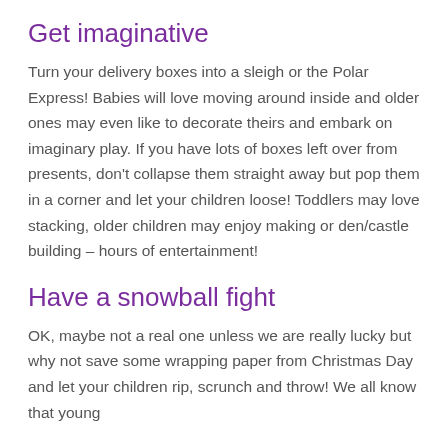Get imaginative
Turn your delivery boxes into a sleigh or the Polar Express! Babies will love moving around inside and older ones may even like to decorate theirs and embark on imaginary play. If you have lots of boxes left over from presents, don't collapse them straight away but pop them in a corner and let your children loose! Toddlers may love stacking, older children may enjoy making or den/castle building – hours of entertainment!
Have a snowball fight
OK, maybe not a real one unless we are really lucky but why not save some wrapping paper from Christmas Day and let your children rip, scrunch and throw! We all know that young